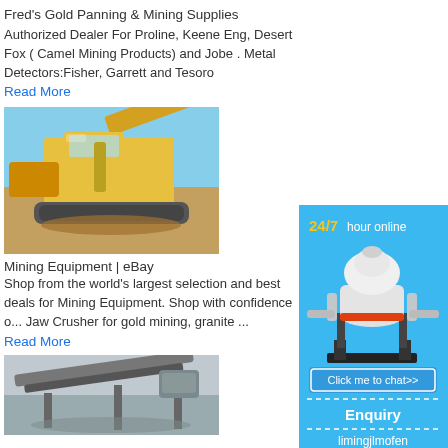Fred's Gold Panning & Mining Supplies
Authorized Dealer For Proline, Keene Eng, Desert Fox ( Camel Mining Products) and Jobe . Metal Detectors:Fisher, Garrett and Tesoro
Read More
[Figure (photo): Large yellow mining excavator/crawler machine working at a mining site with clear blue sky]
Mining Equipment | eBay
Shop from the world's largest selection and best deals for Mining Equipment. Shop with confidence on ... Jaw Crusher for gold mining, granite ...
Read More
[Figure (photo): Mining machinery/conveyor equipment, grayish industrial scene]
[Figure (infographic): Blue advertisement banner: 24/7 hour online, image of cone crusher machine, Click me to chat>> button, Enquiry section, limingjlmofen text]